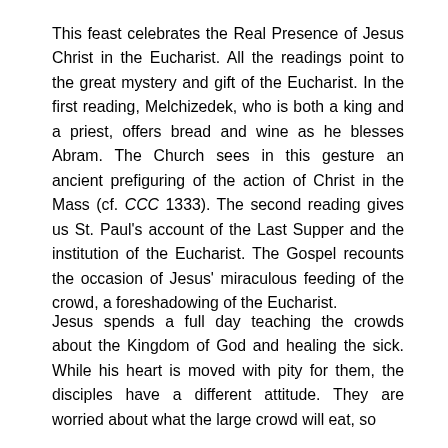This feast celebrates the Real Presence of Jesus Christ in the Eucharist. All the readings point to the great mystery and gift of the Eucharist. In the first reading, Melchizedek, who is both a king and a priest, offers bread and wine as he blesses Abram. The Church sees in this gesture an ancient prefiguring of the action of Christ in the Mass (cf. CCC 1333). The second reading gives us St. Paul's account of the Last Supper and the institution of the Eucharist. The Gospel recounts the occasion of Jesus' miraculous feeding of the crowd, a foreshadowing of the Eucharist.
Jesus spends a full day teaching the crowds about the Kingdom of God and healing the sick. While his heart is moved with pity for them, the disciples have a different attitude. They are worried about what the large crowd will eat, so